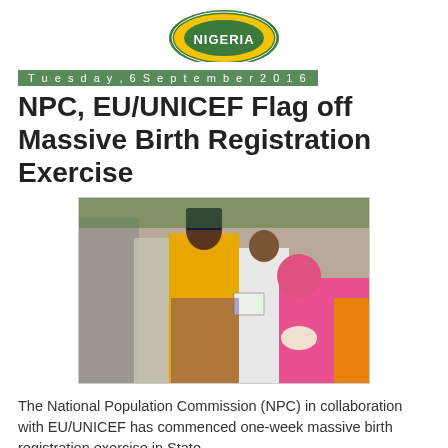[Figure (logo): NPC Nigeria logo — circular green and yellow emblem with text NIGERIA partially visible at top]
Tuesday, 6 September 2016
NPC, EU/UNICEF Flag off Massive Birth Registration Exercise
[Figure (photo): Outdoor scene showing officials including a woman in a yellow dress overseeing a birth registration event; a woman in a pink hijab holds a baby while others look on]
The National Population Commission (NPC) in collaboration with EU/UNICEF has commenced one-week massive birth registration exercise in State .
Flagging off the campaign exercise in specialist hospital